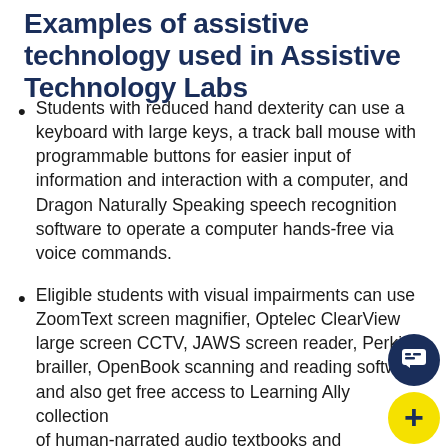Examples of assistive technology used in Assistive Technology Labs
Students with reduced hand dexterity can use a keyboard with large keys, a track ball mouse with programmable buttons for easier input of information and interaction with a computer, and Dragon Naturally Speaking speech recognition software to operate a computer hands-free via voice commands.
Eligible students with visual impairments can use ZoomText screen magnifier, Optelec ClearView large screen CCTV, JAWS screen reader, Perkins brailler, OpenBook scanning and reading software, and also get free access to Learning Ally collection of human-narrated audio textbooks and literature.
Approved students with dyslexia and learning disabilities can use Kurzweil 3000 / Firefly text-to-